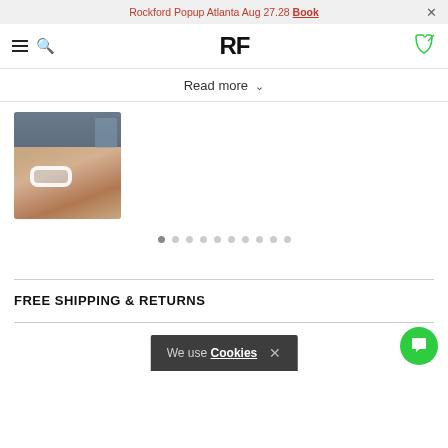Rockford Popup Atlanta Aug 27.28 Book
[Figure (logo): RF logo and navigation bar with hamburger menu, search icon, RF wordmark, and phone icon]
Read more
[Figure (photo): Hand wearing a white/silver ring, photographed in a car interior]
FREE SHIPPING & RETURNS
We use Cookies